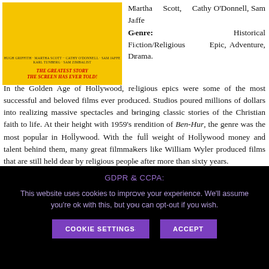[Figure (illustration): Movie poster with yellow background showing 'THE GREATEST STORY THE SCREEN HAS EVER TOLD!' in red bold italic text, with actor names at the top.]
Martha Scott, Cathy O'Donnell, Sam Jaffe Genre: Historical Fiction/Religious Epic, Adventure, Drama.
In the Golden Age of Hollywood, religious epics were some of the most successful and beloved films ever produced. Studios poured millions of dollars into realizing massive spectacles and bringing classic stories of the Christian faith to life. At their height with 1959's rendition of Ben-Hur, the genre was the most popular in Hollywood. With the full weight of Hollywood money and talent behind them, many great filmmakers like William Wyler produced films that are still held dear by religious people after more than sixty years.
GDPR & CCPA:
This website uses cookies to improve your experience. We'll assume you're ok with this, but you can opt-out if you wish.